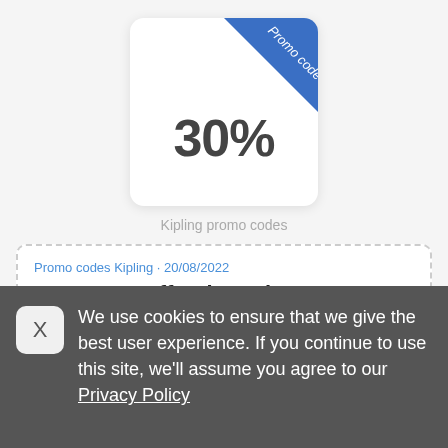[Figure (illustration): Promo code badge: white rounded square card with a blue diagonal ribbon in the top-right corner labeled 'Promo code' in white italic text, and '30%' in large bold dark text centered on the card.]
Kipling promo codes
Promo codes Kipling • 20/08/2022
Extra 30% off Sale Styles
Extra 30% off Sale Styles with code!
We use cookies to ensure that we give the best user experience. If you continue to use this site, we'll assume you agree to our Privacy Policy